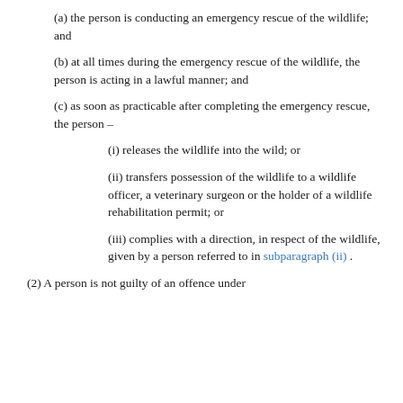(a) the person is conducting an emergency rescue of the wildlife; and
(b) at all times during the emergency rescue of the wildlife, the person is acting in a lawful manner; and
(c) as soon as practicable after completing the emergency rescue, the person –
(i) releases the wildlife into the wild; or
(ii) transfers possession of the wildlife to a wildlife officer, a veterinary surgeon or the holder of a wildlife rehabilitation permit; or
(iii) complies with a direction, in respect of the wildlife, given by a person referred to in subparagraph (ii) .
(2) A person is not guilty of an offence under